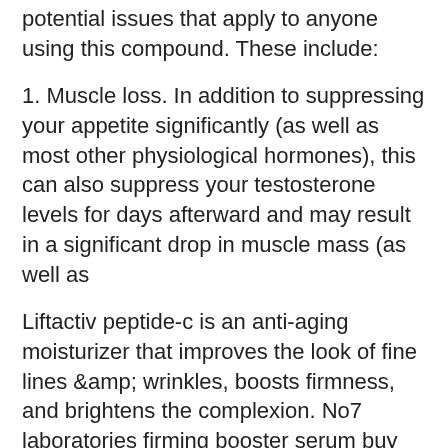potential issues that apply to anyone using this compound. These include:
1. Muscle loss. In addition to suppressing your appetite significantly (as well as most other physiological hormones), this can also suppress your testosterone levels for days afterward and may result in a significant drop in muscle mass (as well as
Liftactiv peptide-c is an anti-aging moisturizer that improves the look of fine lines &amp; wrinkles, boosts firmness, and brightens the complexion. No7 laboratories firming booster serum buy now with no 7 · no7 laboratories line correcting booster serum buy now with. Bliss bright idea vitamin c + tri-peptide serum · dr. An excellent example of the added value derived from our combined product is the production of high-protein